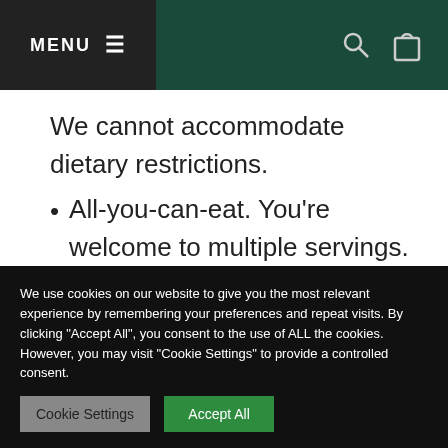MENU
We cannot accommodate dietary restrictions.
All-you-can-eat. You're welcome to multiple servings. We ask that you get in line for each serving so everyone can
We use cookies on our website to give you the most relevant experience by remembering your preferences and repeat visits. By clicking "Accept All", you consent to the use of ALL the cookies. However, you may visit "Cookie Settings" to provide a controlled consent.